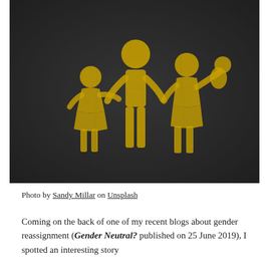[Figure (photo): Yellow family pictogram painted on dark asphalt: a taller adult figure in the center holding hands with a shorter child figure on the left, and a second adult figure on the right holding a baby.]
Photo by Sandy Millar on Unsplash
Coming on the back of one of my recent blogs about gender reassignment (Gender Neutral? published on 25 June 2019), I spotted an interesting story